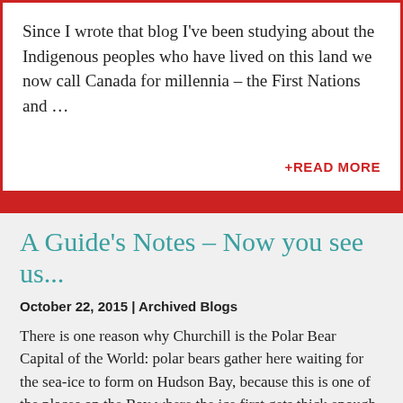Since I wrote that blog I've been studying about the Indigenous peoples who have lived on this land we now call Canada for millennia – the First Nations and …
+READ MORE
A Guide's Notes – Now you see us...
October 22, 2015 | Archived Blogs
There is one reason why Churchill is the Polar Bear Capital of the World: polar bears gather here waiting for the sea-ice to form on Hudson Bay, because this is one of the places on the Bay where the ice first gets thick enough to hunt for seals. The bears we see have been on land for the summer months, where their opportunities to hunt